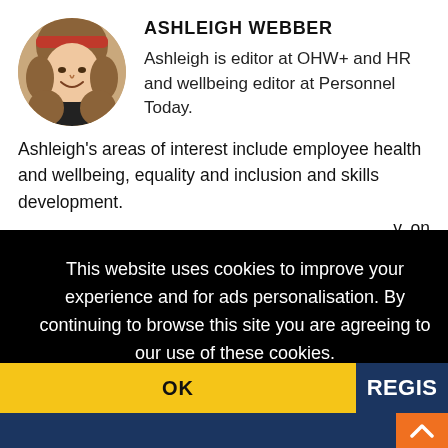[Figure (photo): Circular headshot photo of Ashleigh Webber, a woman with curly blonde hair and a red headband, smiling.]
ASHLEIGH WEBBER
Ashleigh is editor at OHW+ and HR and wellbeing editor at Personnel Today.
Ashleigh's areas of interest include employee health and wellbeing, equality and inclusion and skills development.
This website uses cookies to improve your experience and for ads personalisation. By continuing to browse this site you are agreeing to our use of these cookies. You can learn more about the cookies we use here.
OK